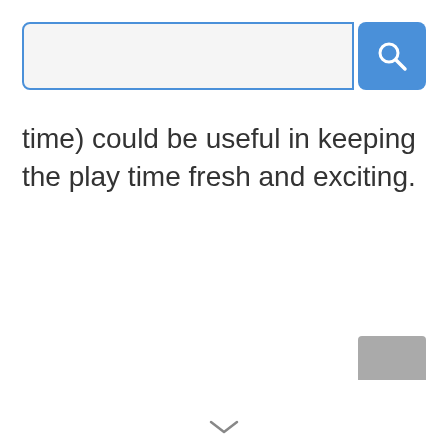[Figure (screenshot): Search bar with text input field (light gray background, blue border) and blue search button with magnifying glass icon]
time) could be useful in keeping the play time fresh and exciting.
[Figure (screenshot): Gray scroll-to-top or navigation button partially visible at bottom right corner]